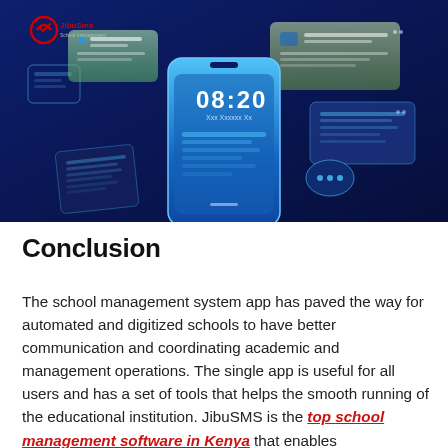[Figure (illustration): Dark navy blue banner illustration showing a smartphone displaying '08:20' time with floating UI panels, cards, and notification bubbles around it — a school management app concept image. JibuSMS logo in top-left corner.]
Conclusion
The school management system app has paved the way for automated and digitized schools to have better communication and coordinating academic and management operations. The single app is useful for all users and has a set of tools that helps the smooth running of the educational institution. JibuSMS is the top school management software in Kenya that enables